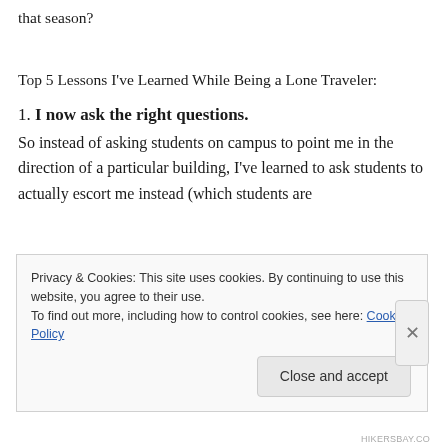that season?
Top 5 Lessons I've Learned While Being a Lone Traveler:
1. I now ask the right questions.
So instead of asking students on campus to point me in the direction of a particular building, I've learned to ask students to actually escort me instead (which students are
Privacy & Cookies: This site uses cookies. By continuing to use this website, you agree to their use.
To find out more, including how to control cookies, see here: Cookie Policy
Close and accept